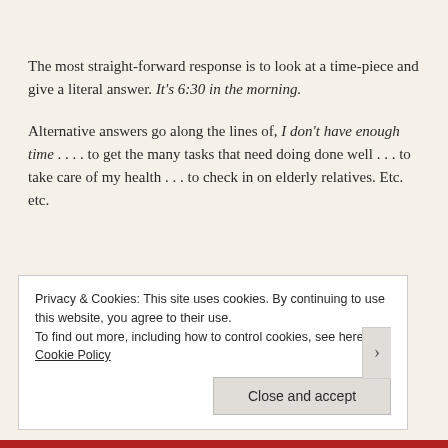The most straight-forward response is to look at a time-piece and give a literal answer. It's 6:30 in the morning.
Alternative answers go along the lines of, I don't have enough time . . . . to get the many tasks that need doing done well . . . to take care of my health . . . to check in on elderly relatives. Etc. etc.
Privacy & Cookies: This site uses cookies. By continuing to use this website, you agree to their use.
To find out more, including how to control cookies, see here: Cookie Policy
Close and accept